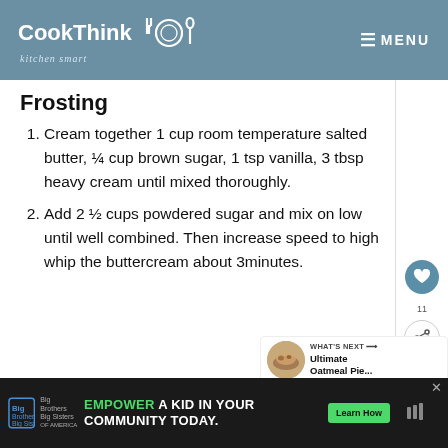CookThink kitchen smart — MENU
Frosting
Cream together 1 cup room temperature salted butter, ¼ cup brown sugar, 1 tsp vanilla, 3 tbsp heavy cream until mixed thoroughly.
Add 2 ½ cups powdered sugar and mix on low until well combined. Then increase speed to high whip the buttercream about 3minutes.
[Figure (other): What's Next panel showing thumbnail of oatmeal pie with label 'WHAT'S NEXT → Ultimate Oatmeal Pie...']
Big Brothers Big Sisters — EMPOWER A KID IN YOUR COMMUNITY TODAY. — Learn How